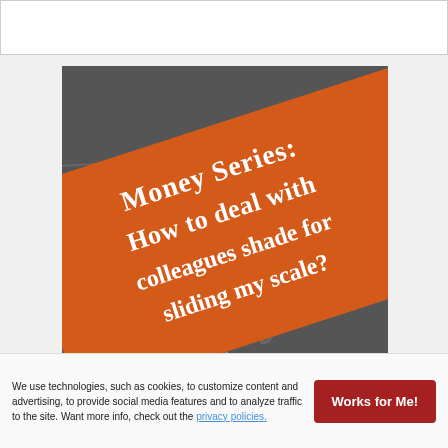[Figure (screenshot): Top navigation bar area of a website, white background with border]
[Figure (photo): Blog post thumbnail image showing an orange diagonal banner with white serif text reading 'Money Series: How to deal with colleagues shade for sliding my scale?' overlaid on a dark background with faint 'Ask Tiffany' text. Bottom right shows 'heytiffany' watermark.]
Ask Tiffany: How to deal with Colleague Shade for Sliding my Scale?
We use technologies, such as cookies, to customize content and advertising, to provide social media features and to analyze traffic to the site. Want more info, check out the privacy policies.